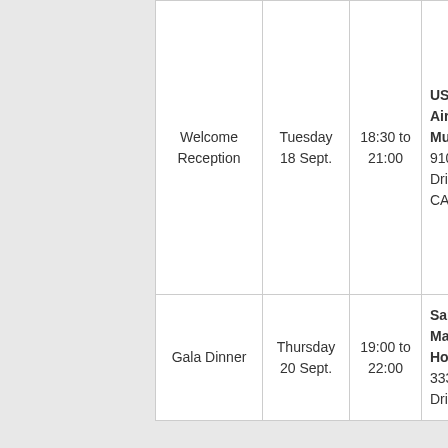| Event | Date | Time | Venue | Notes |
| --- | --- | --- | --- | --- |
| Welcome Reception | Tuesday 18 Sept. | 18:30 to 21:00 | USS Midway Aircraft Carrier Museum 910 N. Harbor Drive San Diego, CA 92101 | f r l t a l t c a s a s t |
| Gala Dinner | Thursday 20 Sept. | 19:00 to 22:00 | San Diego Marriott Marquis Hotel & Marina 333 W. Harbor Drive San | B c c |